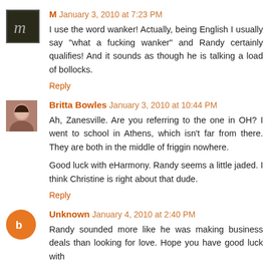M  January 3, 2010 at 7:23 PM
I use the word wanker! Actually, being English I usually say "what a fucking wanker" and Randy certainly qualifies! And it sounds as though he is talking a load of bollocks.
Reply
Britta Bowles  January 3, 2010 at 10:44 PM
Ah, Zanesville. Are you referring to the one in OH? I went to school in Athens, which isn't far from there. They are both in the middle of friggin nowhere.

Good luck with eHarmony. Randy seems a little jaded. I think Christine is right about that dude.
Reply
Unknown  January 4, 2010 at 2:40 PM
Randy sounded more like he was making business deals than looking for love. Hope you have good luck with